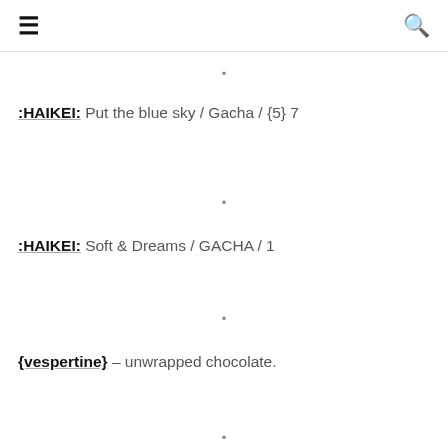≡  🔍
·
:HAIKEI: Put the blue sky / Gacha / {5} 7
·
:HAIKEI: Soft & Dreams / GACHA / 1
·
{vespertine} – unwrapped chocolate.
·